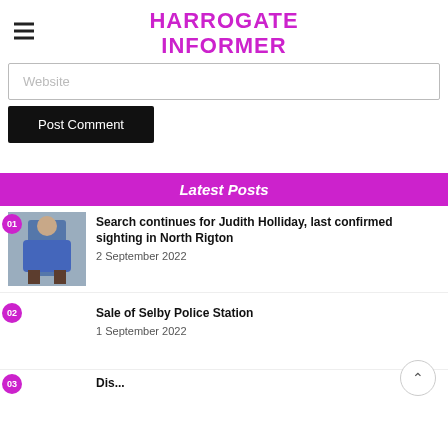HARROGATE INFORMER
Website
Post Comment
Latest Posts
Search continues for Judith Holliday, last confirmed sighting in North Rigton
2 September 2022
Sale of Selby Police Station
1 September 2022
03 (partial post title cut off)